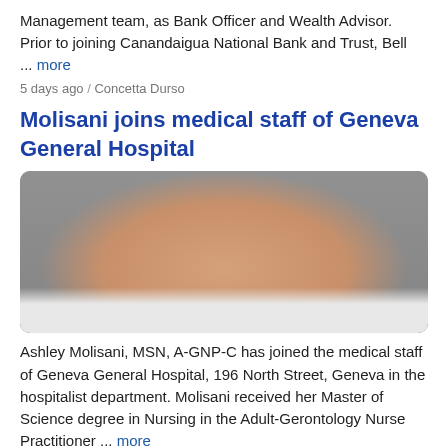Management team, as Bank Officer and Wealth Advisor. Prior to joining Canandaigua National Bank and Trust, Bell ... more
5 days ago / Concetta Durso
Molisani joins medical staff of Geneva General Hospital
[Figure (photo): Headshot photo of Ashley Molisani, showing lower face with smile and white collar, against gray background]
Ashley Molisani, MSN, A-GNP-C has joined the medical staff of Geneva General Hospital, 196 North Street, Geneva in the hospitalist department. Molisani received her Master of Science degree in Nursing in the Adult-Gerontology Nurse Practitioner ... more